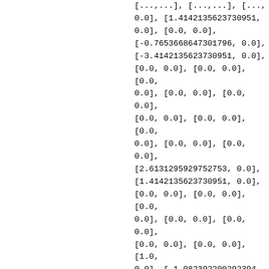[...,...], [...,...], [..., 0.0], [1.4142135623730951, 0.0], [0.0, 0.0], [-0.7653668647301796, 0.0], [-3.4142135623730951, 0.0], [0.0, 0.0], [0.0, 0.0], [0.0, 0.0], [0.0, 0.0], [0.0, 0.0], [0.0, 0.0], [0.0, 0.0], [0.0, 0.0], [0.0, 0.0], [0.0, 0.0], [2.6131295929752753, 0.0], [1.4142135623730951, 0.0], [0.0, 0.0], [0.0, 0.0], [0.0, 0.0], [0.0, 0.0], [0.0, 0.0], [0.0, 0.0], [0.0, 0.0], [1.0, 0.0], [-1.082392200292394, 0.0], [0.0, 0.0], [0.0, 0.0], [-1.4142135623730951, 0.0], [0.0, 0.0], [-1.8477590650225735, 0.0], [0.7653668647301796, 0.0], [-0.7653668647301796, 0.0]